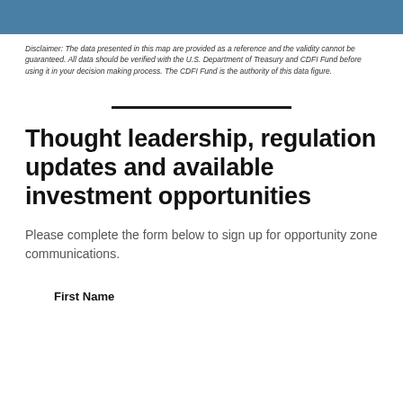Disclaimer: The data presented in this map are provided as a reference and the validity cannot be guaranteed. All data should be verified with the U.S. Department of Treasury and CDFI Fund before using it in your decision making process. The CDFI Fund is the authority of this data figure.
Thought leadership, regulation updates and available investment opportunities
Please complete the form below to sign up for opportunity zone communications.
First Name